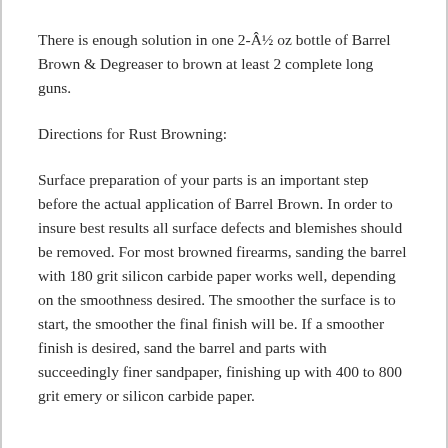There is enough solution in one 2-Â½ oz bottle of Barrel Brown & Degreaser to brown at least 2 complete long guns.
Directions for Rust Browning:
Surface preparation of your parts is an important step before the actual application of Barrel Brown. In order to insure best results all surface defects and blemishes should be removed. For most browned firearms, sanding the barrel with 180 grit silicon carbide paper works well, depending on the smoothness desired. The smoother the surface is to start, the smoother the final finish will be. If a smoother finish is desired, sand the barrel and parts with succeedingly finer sandpaper, finishing up with 400 to 800 grit emery or silicon carbide paper.